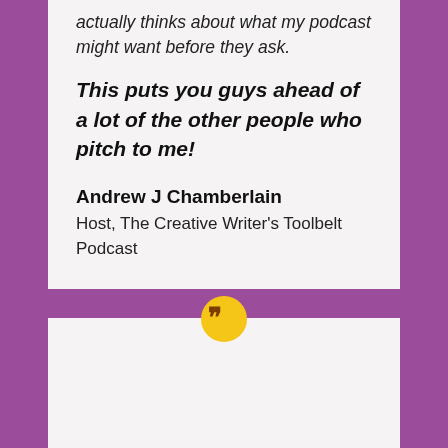actually thinks about what my podcast might want before they ask.
This puts you guys ahead of a lot of the other people who pitch to me!
Andrew J Chamberlain
Host, The Creative Writer's Toolbelt Podcast
[Figure (photo): Circular portrait photo of a woman with short hair, wearing a grey outfit, posed against a decorative geometric background.]